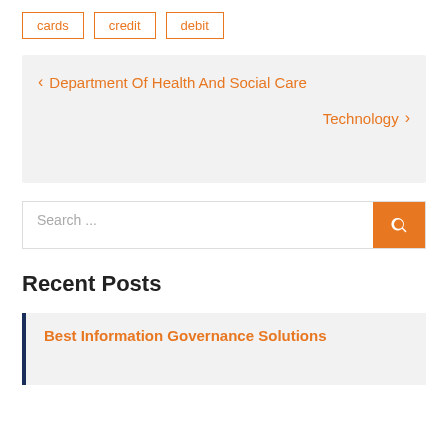cards
credit
debit
< Department Of Health And Social Care
Technology >
Search ...
Recent Posts
Best Information Governance Solutions